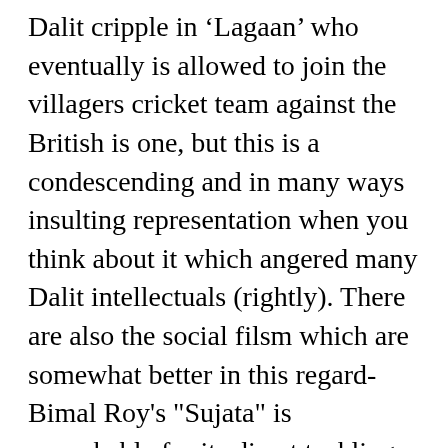Dalit cripple in 'Lagaan' who eventually is allowed to join the villagers cricket team against the British is one, but this is a condescending and in many ways insulting representation when you think about it which angered many Dalit intellectuals (rightly). There are also the social filsm which are somewhat better in this regard- Bimal Roy's "Sujata" is remarkable for its direct tackling of casteism and for doing it at such an early period in Hindi cinema. This story of an inter-caste marriage between a Brahmin man and a Dalit girl is an important contribution to the issue and is well acted and scored. Some of Satyajit Ray's films are the orbiting stones of